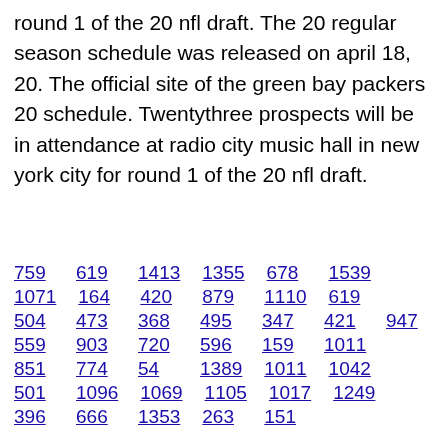round 1 of the 20 nfl draft. The 20 regular season schedule was released on april 18, 20. The official site of the green bay packers 20 schedule. Twentythree prospects will be in attendance at radio city music hall in new york city for round 1 of the 20 nfl draft.
759 619 1413 1355 678 1539
1071 164 420 879 1110 619
504 473 368 495 347 421 947
559 903 720 596 159 1011
851 774 54 1389 1011 1042
501 1096 1069 1105 1017 1249
396 666 1353 263 151